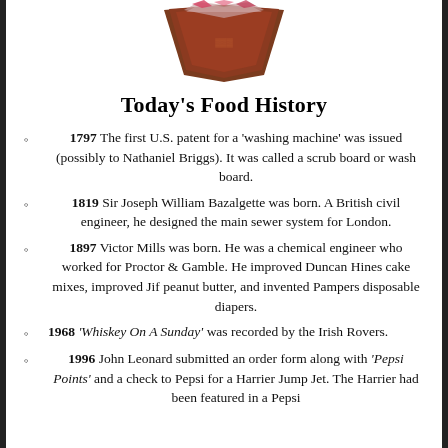[Figure (photo): Partial image of chocolate or food item at top of page, cropped]
Today's Food History
1797 The first U.S. patent for a 'washing machine' was issued (possibly to Nathaniel Briggs).  It was called a scrub board or wash board.
1819 Sir Joseph William Bazalgette was born.  A British civil engineer, he designed the main sewer system for London.
1897 Victor Mills was born.  He was a chemical engineer who worked for Proctor & Gamble.  He improved Duncan Hines cake mixes, improved Jif peanut butter, and invented Pampers disposable diapers.
1968 'Whiskey On A Sunday' was recorded by the Irish Rovers.
1996 John Leonard submitted an order form along with 'Pepsi Points' and a check to Pepsi for a Harrier Jump Jet.  The Harrier had been featured in a Pepsi...